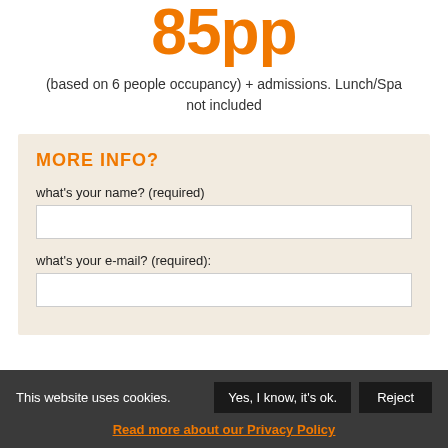85pp
(based on 6 people occupancy) + admissions. Lunch/Spa not included
MORE INFO?
what's your name? (required)
what's your e-mail? (required):
This website uses cookies. Yes, I know, it's ok. Reject
Read more about our Privacy Policy